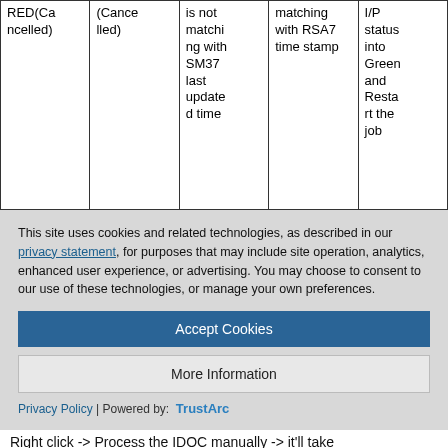| RED(Cancelled) | (Cancelled) | is not matching with SM37 last updated time | matching with RSA7 time stamp | I/P status into Green and Restart the job |
This site uses cookies and related technologies, as described in our privacy statement, for purposes that may include site operation, analytics, enhanced user experience, or advertising. You may choose to consent to our use of these technologies, or manage your own preferences.
Accept Cookies
More Information
Privacy Policy | Powered by: TrustArc
Right click -> Process the IDOC manually -> it'll take